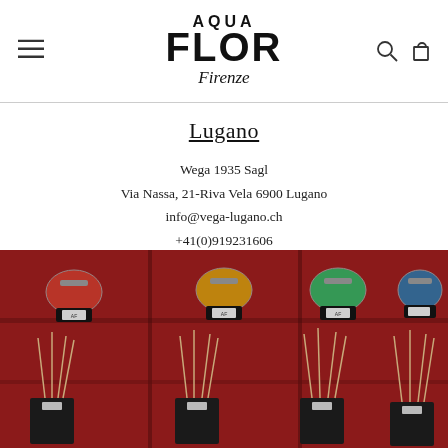Aqua Flor Firenze — navigation header with logo, menu icon, search and cart icons
Lugano
Wega 1935 Sagl
Via Nassa, 21-Riva Vela 6900 Lugano
info@vega-lugano.ch
+41(0)919231606
[Figure (photo): Interior shelf display of Aqua Flor Firenze fragrance diffuser bottles in various colors (red, yellow, green, blue) with reed sticks, packaged in black boxes, set against a red background wall.]